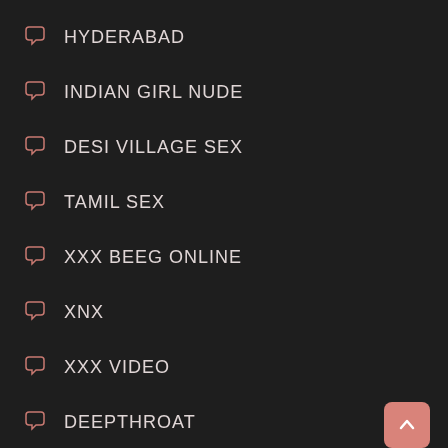HYDERABAD
INDIAN GIRL NUDE
DESI VILLAGE SEX
TAMIL SEX
XXX BEEG ONLINE
XNX
XXX VIDEO
DEEPTHROAT
XXXX